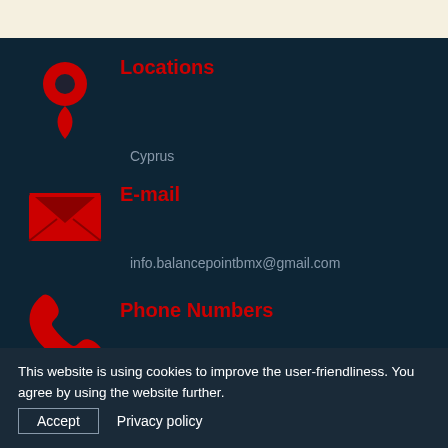Locations
Cyprus
E-mail
info.balancepointbmx@gmail.com
Phone Numbers
+35799828382
+35799895573
This website is using cookies to improve the user-friendliness. You agree by using the website further.
Accept  Privacy policy